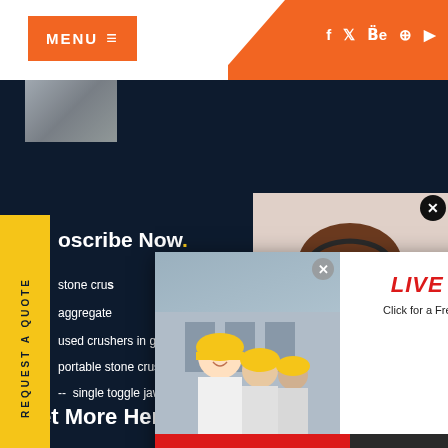[Figure (screenshot): Website header with orange MENU button on left and orange triangle with social media icons (f, Twitter, Be, Pinterest, YouTube) on right]
[Figure (screenshot): Small thumbnail image of industrial/construction site]
REQUEST A QUOTE (vertical yellow sidebar)
oscribe Now.
stone crus
aggregate
used crushers in ghana for sale
-- portable stone crusher manufature ethiop
-- single toggle jaw crusher for sale
Get More Here.
[Figure (screenshot): Live chat popup with workers in hard hats on left, LIVE CHAT title in red italic, 'Click for a Free Consultation' text, Chat now and Chat later buttons]
[Figure (photo): Customer service woman with headset smiling]
Have any requests, click here.
Quota
Enquiry
drobilkalm